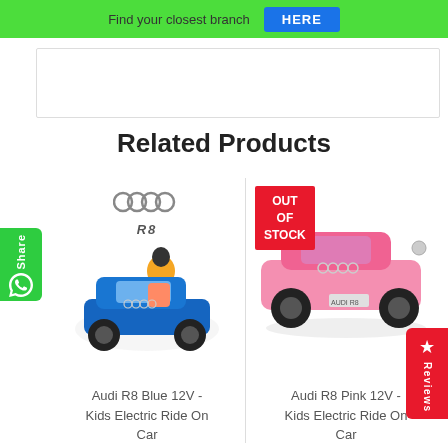Find your closest branch HERE
Related Products
[Figure (photo): Blue Audi R8 kids electric ride-on car with child sitting in it, with Audi R8 logo above]
Audi R8 Blue 12V - Kids Electric Ride On Car
[Figure (photo): Pink Audi R8 kids electric ride-on car with OUT OF STOCK badge]
Audi R8 Pink 12V - Kids Electric Ride On Car